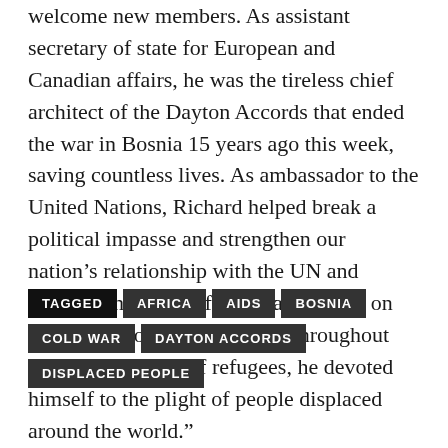welcome new members. As assistant secretary of state for European and Canadian affairs, he was the tireless chief architect of the Dayton Accords that ended the war in Bosnia 15 years ago this week, saving countless lives. As ambassador to the United Nations, Richard helped break a political impasse and strengthen our nation’s relationship with the UN and elevated the cause of AIDS and Africa on the international agenda. And throughout his life, as a child of refugees, he devoted himself to the plight of people displaced around the world.”
TAGGED  AFRICA  AIDS  BOSNIA  COLD WAR  DAYTON ACCORDS  DISPLACED PEOPLE